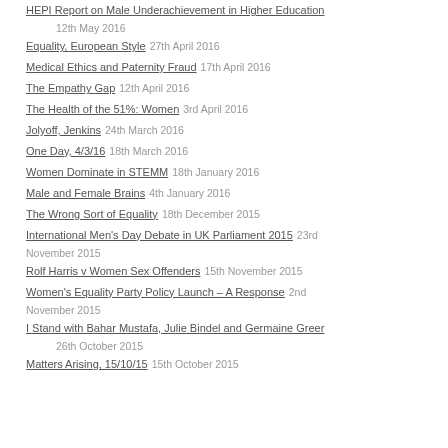HEPI Report on Male Underachievement in Higher Education   12th May 2016
Equality, European Style   27th April 2016
Medical Ethics and Paternity Fraud   17th April 2016
The Empathy Gap   12th April 2016
The Health of the 51%: Women   3rd April 2016
Jolyoff, Jenkins   24th March 2016
One Day, 4/3/16   18th March 2016
Women Dominate in STEMM   18th January 2016
Male and Female Brains   4th January 2016
The Wrong Sort of Equality   18th December 2015
International Men's Day Debate in UK Parliament 2015   23rd November 2015
Rolf Harris v Women Sex Offenders   15th November 2015
Women's Equality Party Policy Launch – A Response   2nd November 2015
I Stand with Bahar Mustafa, Julie Bindel and Germaine Greer   26th October 2015
Matters Arising, 15/10/15   15th October 2015